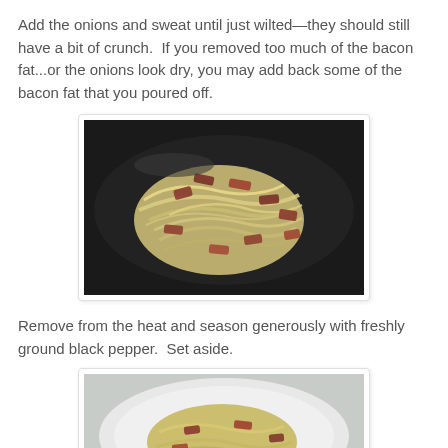Add the onions and sweat until just wilted—they should still have a bit of crunch.  If you removed too much of the bacon fat...or the onions look dry, you may add back some of the bacon fat that you poured off.
[Figure (photo): Photo of wilted onions and pieces of bacon cooking in a dark skillet pan, viewed from above.]
Remove from the heat and season generously with freshly ground black pepper.  Set aside.
[Figure (photo): Photo of cooked onions and bacon pieces served on a white plate, viewed from above.]